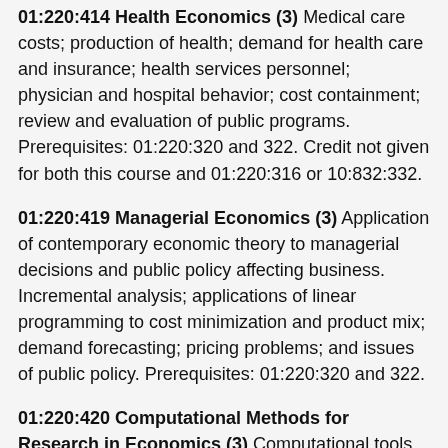01:220:414 Health Economics (3) Medical care costs; production of health; demand for health care and insurance; health services personnel; physician and hospital behavior; cost containment; review and evaluation of public programs. Prerequisites: 01:220:320 and 322. Credit not given for both this course and 01:220:316 or 10:832:332.
01:220:419 Managerial Economics (3) Application of contemporary economic theory to managerial decisions and public policy affecting business. Incremental analysis; applications of linear programming to cost minimization and product mix; demand forecasting; pricing problems; and issues of public policy. Prerequisites: 01:220:320 and 322.
01:220:420 Computational Methods for Research in Economics (3) Computational tools and custom-designed data collection methods for economic research; self-contained primer in building computational tools; use of computational tools in adapting tightly specified and general theoretical models to more complex and realistic